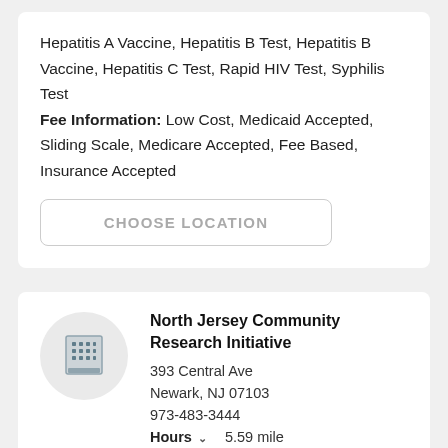Hepatitis A Vaccine, Hepatitis B Test, Hepatitis B Vaccine, Hepatitis C Test, Rapid HIV Test, Syphilis Test Fee Information: Low Cost, Medicaid Accepted, Sliding Scale, Medicare Accepted, Fee Based, Insurance Accepted
CHOOSE LOCATION
North Jersey Community Research Initiative
393 Central Ave
Newark, NJ 07103
973-483-3444
Hours  5.59 mile
Tests available: Chlamydia Test, Conventional HIV